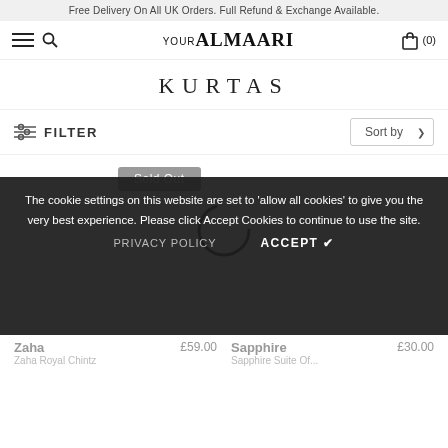Free Delivery On All UK Orders. Full Refund & Exchange Available.
[Figure (logo): Your ALMAARI logo with hamburger menu, search icon, and cart icon (0)]
KURTAS
FILTER  Sort by
Sold Out
[Figure (illustration): Loading spinner (partial circle arc)]
The cookie settings on this website are set to 'allow all cookies' to give you the very best experience. Please click Accept Cookies to continue to use the site.
PRIVACY POLICY   ACCEPT ✔
Zaha
Zaha Royal Chintz
£59.00
Sapphire
Sapphire Suite Of...
£30.00